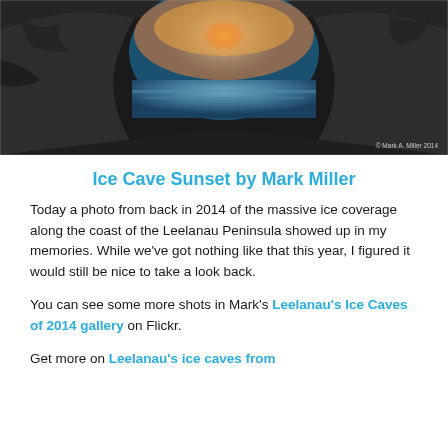[Figure (photo): A dramatic photograph of an ice cave viewed from inside, showing a rocky arch framing a sunset over water/ice with warm orange and cool blue tones. Copyright mark: © Mark A. Miller 2014]
Ice Cave Sunset by Mark Miller
Today a photo from back in 2014 of the massive ice coverage along the coast of the Leelanau Peninsula showed up in my memories. While we've got nothing like that this year, I figured it would still be nice to take a look back.
You can see some more shots in Mark's Leelanau's Ice Caves of 2014 gallery on Flickr.
Get more on Leelanau's ice caves from